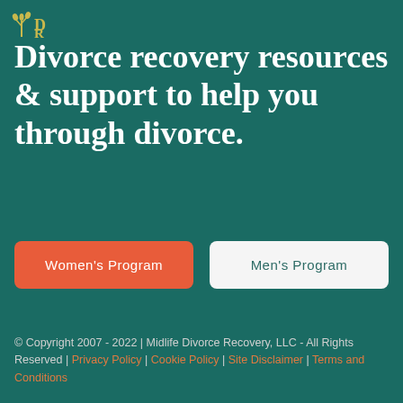[Figure (logo): Midlife Divorce Recovery logo with stylized plant/tree icon and letters D R]
Divorce recovery resources & support to help you through divorce.
Women's Program
Men's Program
© Copyright 2007 - 2022 | Midlife Divorce Recovery, LLC - All Rights Reserved | Privacy Policy | Cookie Policy | Site Disclaimer | Terms and Conditions